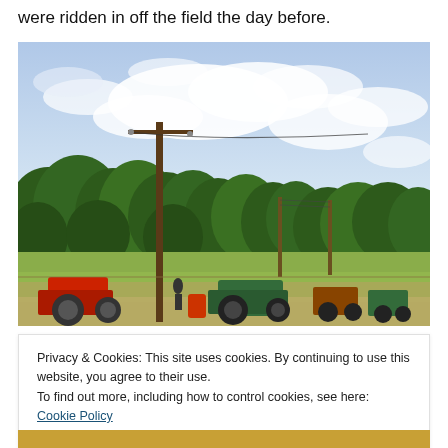were ridden in off the field the day before.
[Figure (photo): Outdoor farm scene showing vintage tractors parked on a field, a tall utility pole in the foreground, and a treeline in the background under a partly cloudy sky.]
Privacy & Cookies: This site uses cookies. By continuing to use this website, you agree to their use.
To find out more, including how to control cookies, see here: Cookie Policy
Close and accept